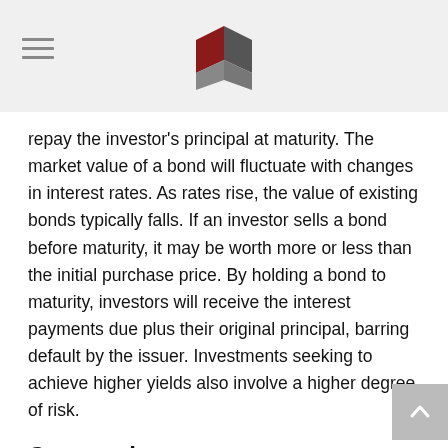repay the investor's principal at maturity. The market value of a bond will fluctuate with changes in interest rates. As rates rise, the value of existing bonds typically falls. If an investor sells a bond before maturity, it may be worth more or less than the initial purchase price. By holding a bond to maturity, investors will receive the interest payments due plus their original principal, barring default by the issuer. Investments seeking to achieve higher yields also involve a higher degree of risk.
Corporation
A legal organization created under the laws of a state as a separate legal entity that has privileges and liabilities that are distinct from those of its members. Corporations are taxable entities—they are taxed separately from their members or shareholders. Corporations are able to borrow